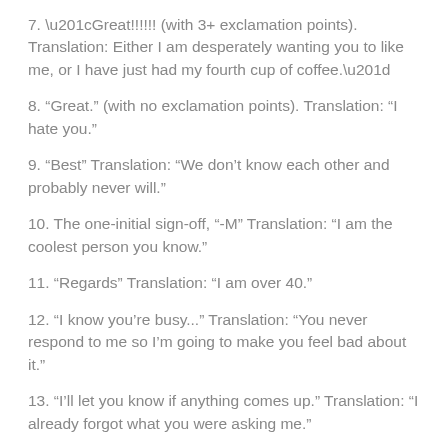7. “Great!!!!!! (with 3+ exclamation points). Translation: Either I am desperately wanting you to like me, or I have just had my fourth cup of coffee.”
8. “Great.” (with no exclamation points). Translation: “I hate you.”
9. “Best” Translation: “We don’t know each other and probably never will.”
10. The one-initial sign-off, “-M” Translation: “I am the coolest person you know.”
11. “Regards” Translation: “I am over 40.”
12. “I know you’re busy...” Translation: “You never respond to me so I’m going to make you feel bad about it.”
13. “I’ll let you know if anything comes up.” Translation: “I already forgot what you were asking me.”